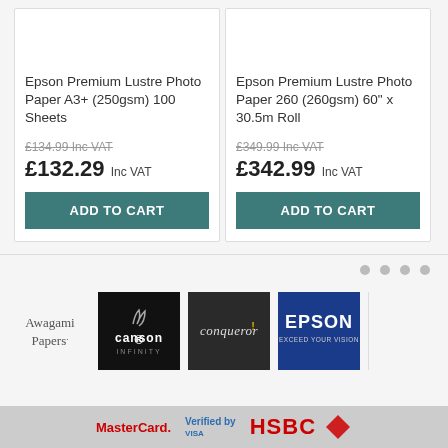Epson Premium Lustre Photo Paper A3+ (250gsm) 100 Sheets
£134.99 Inc VAT (strikethrough), £132.29 Inc VAT
Epson Premium Lustre Photo Paper 260 (260gsm) 60" x 30.5m Roll
£349.99 Inc VAT (strikethrough), £342.99 Inc VAT
[Figure (logo): Awagami Papers logo text]
[Figure (logo): Canson Infinity logo on black background]
[Figure (logo): Conqueror logo on dark background]
[Figure (logo): Epson Exceed Your Vision logo on blue background]
MasterCard. Verified by HSBC